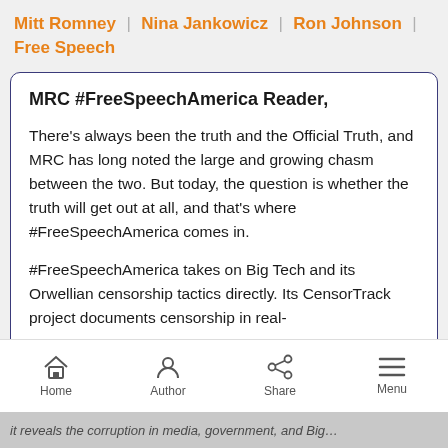Mitt Romney | Nina Jankowicz | Ron Johnson | Free Speech
MRC #FreeSpeechAmerica Reader,
There’s always been the truth and the Official Truth, and MRC has long noted the large and growing chasm between the two. But today, the question is whether the truth will get out at all, and that’s where #FreeSpeechAmerica comes in.
#FreeSpeechAmerica takes on Big Tech and its Orwellian censorship tactics directly. Its CensorTrack project documents censorship in real-
Home  Author  Share  Menu